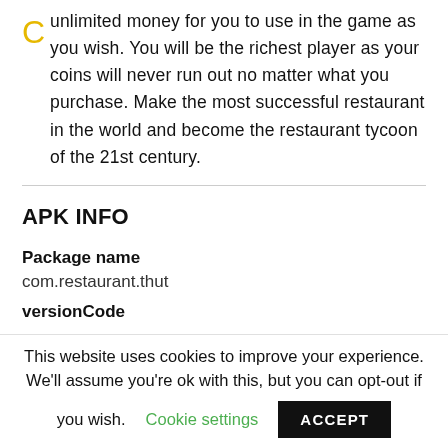unlimited money for you to use in the game as you wish. You will be the richest player as your coins will never run out no matter what you purchase. Make the most successful restaurant in the world and become the restaurant tycoon of the 21st century.
APK INFO
Package name
com.restaurant.thut
versionCode
This website uses cookies to improve your experience. We'll assume you're ok with this, but you can opt-out if you wish. Cookie settings ACCEPT